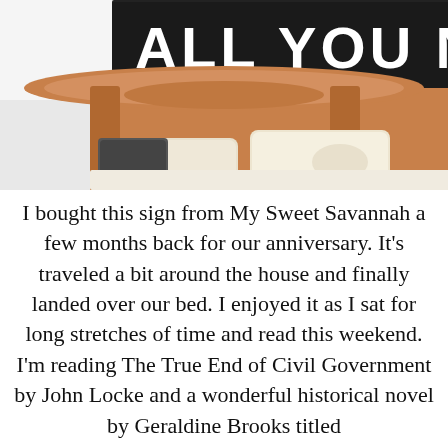[Figure (photo): Photo of a wooden bed headboard with pillows, and a black sign with white text reading 'ALL YOU NEED' mounted on the wall above it.]
I bought this sign from My Sweet Savannah a few months back for our anniversary. It's traveled a bit around the house and finally landed over our bed. I enjoyed it as I sat for long stretches of time and read this weekend. I'm reading The True End of Civil Government by John Locke and a wonderful historical novel by Geraldine Brooks titled
March. The latter is the story of Mr. March,